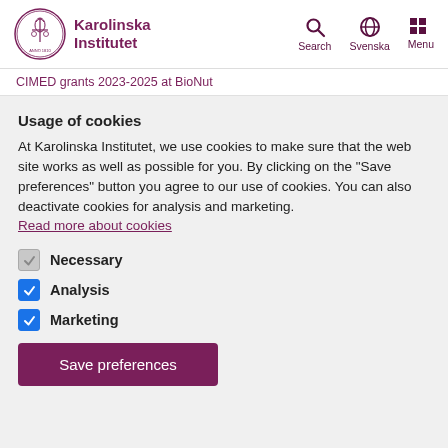Karolinska Institutet | Search | Svenska | Menu
CIMED grants 2023-2025 at BioNut
Usage of cookies
At Karolinska Institutet, we use cookies to make sure that the web site works as well as possible for you. By clicking on the "Save preferences" button you agree to our use of cookies. You can also deactivate cookies for analysis and marketing.
Read more about cookies
Necessary
Analysis
Marketing
Save preferences